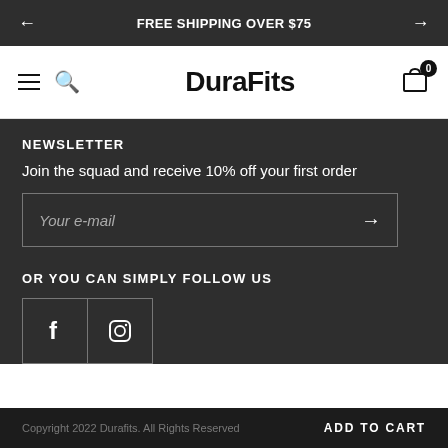FREE SHIPPING OVER $75
DuraFits
NEWSLETTER
Join the squad and receive 10% off your first order
Your e-mail
OR YOU CAN SIMPLY FOLLOW US
Copyright 2022 Durafits. All Rights Reserved